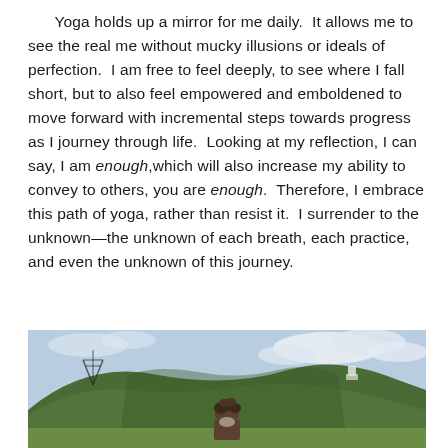Yoga holds up a mirror for me daily.  It allows me to see the real me without mucky illusions or ideals of perfection.  I am free to feel deeply, to see where I fall short, but to also feel empowered and emboldened to move forward with incremental steps towards progress as I journey through life.  Looking at my reflection, I can say, I am enough,which will also increase my ability to convey to others, you are enough.  Therefore, I embrace this path of yoga, rather than resist it.  I surrender to the unknown—the unknown of each breath, each practice, and even the unknown of this journey.
[Figure (photo): Outdoor photo showing a green grassy hill/landscape under a partly cloudy sky, with a person with curly hair visible at the bottom center of the image.]